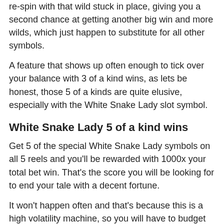re-spin with that wild stuck in place, giving you a second chance at getting another big win and more wilds, which just happen to substitute for all other symbols.
A feature that shows up often enough to tick over your balance with 3 of a kind wins, as lets be honest, those 5 of a kinds are quite elusive, especially with the White Snake Lady slot symbol.
White Snake Lady 5 of a kind wins
Get 5 of the special White Snake Lady symbols on all 5 reels and you’ll be rewarded with 1000x your total bet win. That’s the score you will be looking for to end your tale with a decent fortune.
It won’t happen often and that’s because this is a high volatility machine, so you will have to budget your cash wisely to even think about hitting this feature, but when it hits you’ll be over the moon.